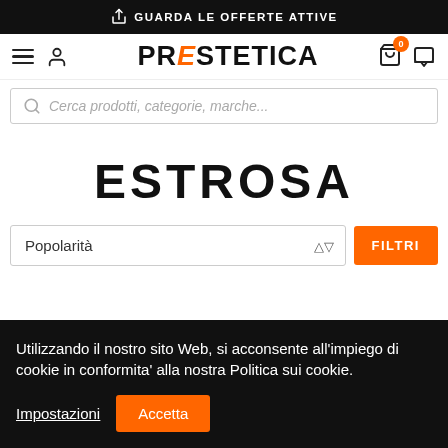GUARDA LE OFFERTE ATTIVE
[Figure (screenshot): Proestetica website navigation bar with hamburger menu, user icon, logo with orange lightning bolt, shopping cart with badge 0, and chat icon]
Cerca prodotti, categorie, marche...
ESTROSA
Popolarità
FILTRI
Utilizzando il nostro sito Web, si acconsente all'impiego di cookie in conformita' alla nostra Politica sui cookie.
Impostazioni
Accetta